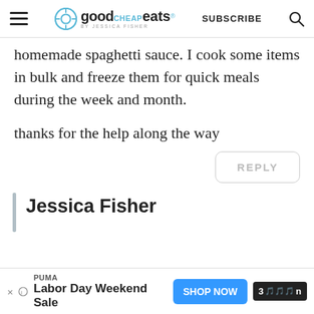good CHEAP eats by Jessica Fisher | SUBSCRIBE
homemade spaghetti sauce. I cook some items in bulk and freeze them for quick meals during the week and month.

thanks for the help along the way
REPLY
Jessica Fisher
PUMA Labor Day Weekend Sale SHOP NOW